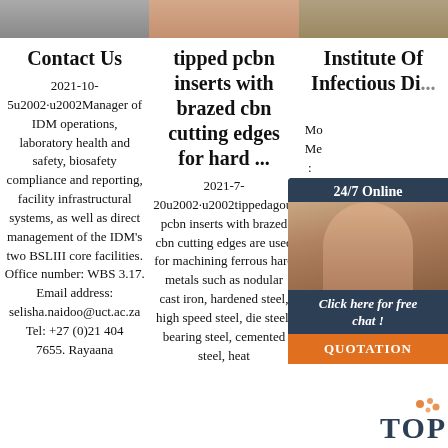[Figure (photo): Three partial image thumbnails at the top of the page side by side]
Contact Us
2021-10-5u2002·u2002Manager of IDM operations, laboratory health and safety, biosafety compliance and reporting, facility infrastructural systems, as well as direct management of the IDM's two BSLIII core facilities. Office number: WBS 3.17. Email address: selisha.naidoo@uct.ac.za Tel: +27 (0)21 404 7655. Rayaana...
tipped pcbn inserts with brazed cbn cutting edges for hard ...
2021-7-20u2002·u2002tippedagou20 pcbn inserts with brazed cbn cutting edges are used for machining ferrous hard metals such as nodular cast iron, hardened steel, high speed steel, die steel, bearing steel, cemented steel, heat...
Institute Of Infectious Di...
Mo Me : induces death ma suppurate efficacy of anti-viral vaccination & The immunology role of cell wall components from diverse...
[Figure (photo): Live chat widget with agent photo, '24/7 Online' header, 'Click here for free chat!' text, and orange QUOTATION button]
[Figure (logo): TOP logo watermark in bottom right corner with orange dots decoration]